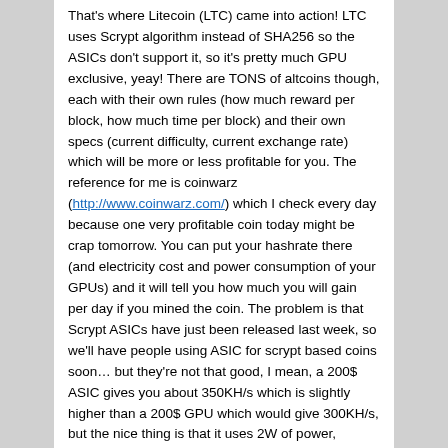That's where Litecoin (LTC) came into action! LTC uses Scrypt algorithm instead of SHA256 so the ASICs don't support it, so it's pretty much GPU exclusive, yeay! There are TONS of altcoins though, each with their own rules (how much reward per block, how much time per block) and their own specs (current difficulty, current exchange rate) which will be more or less profitable for you. The reference for me is coinwarz (http://www.coinwarz.com/) which I check every day because one very profitable coin today might be crap tomorrow. You can put your hashrate there (and electricity cost and power consumption of your GPUs) and it will tell you how much you will gain per day if you mined the coin. The problem is that Scrypt ASICs have just been released last week, so we'll have people using ASIC for scrypt based coins soon… but they're not that good, I mean, a 200$ ASIC gives you about 350KH/s which is slightly higher than a 200$ GPU which would give 300KH/s, but the nice thing is that it uses 2W of power, instead of 200W or whatever your GPU consumes. There is also a new algo (kind of) called Adaptive-N Scrypt, which is just scrypt but with one of the constants